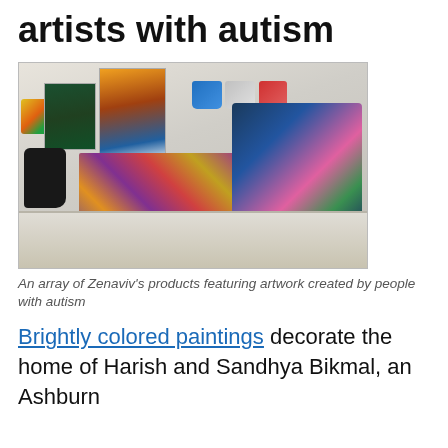artists with autism
[Figure (photo): An array of products on a table: paintings, printed cards, mugs, a decorated bag, and other merchandise featuring artwork created by people with autism]
An array of Zenaviv’s products featuring artwork created by people with autism
Brightly colored paintings decorate the home of Harish and Sandhya Bikmal, an Ashburn